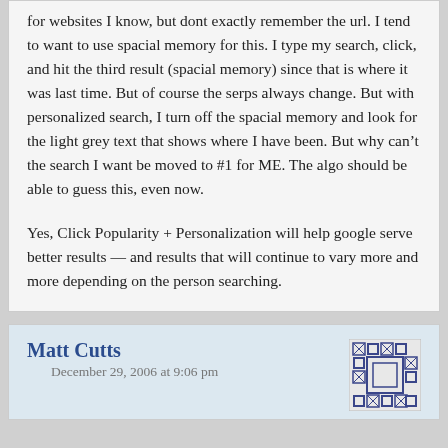for websites I know, but dont exactly remember the url. I tend to want to use spacial memory for this. I type my search, click, and hit the third result (spacial memory) since that is where it was last time. But of course the serps always change. But with personalized search, I turn off the spacial memory and look for the light grey text that shows where I have been. But why can't the search I want be moved to #1 for ME. The algo should be able to guess this, even now.

Yes, Click Popularity + Personalization will help google serve better results — and results that will continue to vary more and more depending on the person searching.
Matt Cutts
December 29, 2006 at 9:06 pm